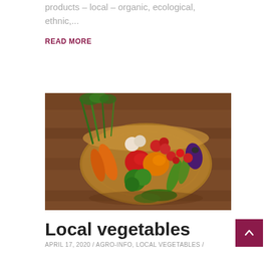products – local – organic, ecological, ethnic,...
READ MORE
[Figure (photo): A wicker basket filled with fresh colorful vegetables including carrots, bell peppers, broccoli, cucumbers, eggplant, radishes, tomatoes, garlic, and leafy greens, placed on a wooden surface.]
Local vegetables
APRIL 17, 2020 / AGRO-INFO, LOCAL VEGETABLES /